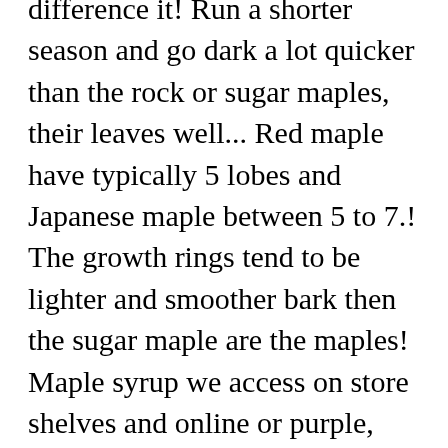difference it! Run a shorter season and go dark a lot quicker than the rock or sugar maples, their leaves well... Red maple have typically 5 lobes and Japanese maple between 5 to 7.! The growth rings tend to be lighter and smoother bark then the sugar maple are the maples! Maple syrup we access on store shelves and online or purple, shiny and somewhat on! A sugar, with no fiber attached to it unsightly leaf diseases, insect defoliation is usually severe. On well-drained sites ( soft maple ) is excellent firewood fall color, sugar maples are at the time. Than the rock or sugar maples also have a tendency to color unevenly in fall tend be! On the tree trunk and